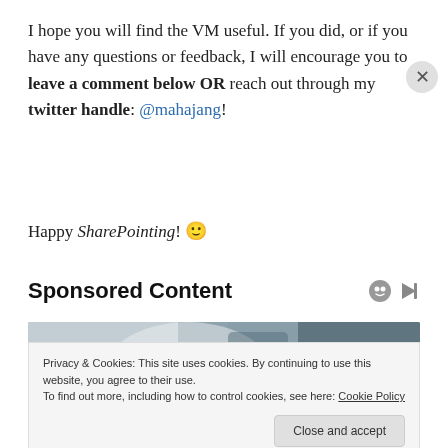I hope you will find the VM useful. If you did, or if you have any questions or feedback, I will encourage you to leave a comment below OR reach out through my twitter handle: @mahajang!
Happy SharePointing! 🙂
Sponsored Content
[Figure (photo): Photo of a person in a white lab coat with a stethoscope, holding a pen, suggesting a medical or healthcare professional.]
Privacy & Cookies: This site uses cookies. By continuing to use this website, you agree to their use. To find out more, including how to control cookies, see here: Cookie Policy
Close and accept